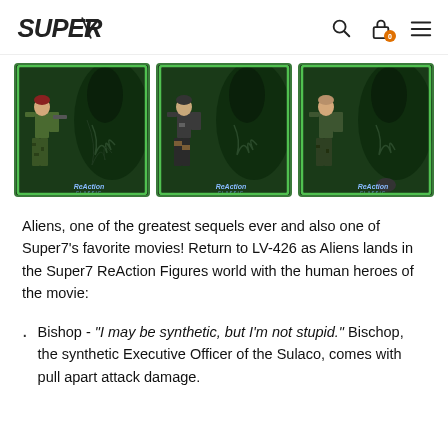SUPER7 logo with search, cart, and menu icons
[Figure (photo): Three Aliens ReAction Figures product cards side by side, each showing a small action figure against a dark alien-themed green-bordered blister card background with ReAction Classics logo.]
Aliens, one of the greatest sequels ever and also one of Super7's favorite movies! Return to LV-426 as Aliens lands in the Super7 ReAction Figures world with the human heroes of the movie:
Bishop - "I may be synthetic, but I'm not stupid." Bischop, the synthetic Executive Officer of the Sulaco, comes with pull apart attack damage.